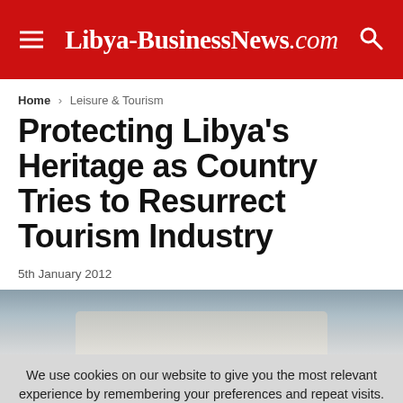Libya-BusinessNews.com
Home > Leisure & Tourism
Protecting Libya's Heritage as Country Tries to Resurrect Tourism Industry
5th January 2012
[Figure (photo): Photograph partially visible below article date, showing architectural or heritage site in Libya]
We use cookies on our website to give you the most relevant experience by remembering your preferences and repeat visits. By clicking "I Agree", you consent to the use of ALL the cookies.